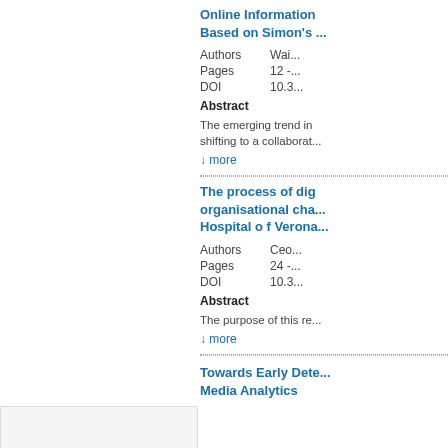Online Information Based on Simon's ...
|  |  |
| --- | --- |
| Authors | Wai... |
| Pages | 12 -... |
| DOI | 10.3... |
Abstract
The emerging trend in shifting to a collaborat...
↓ more
The process of dig organisational cha Hospital o f Verona...
|  |  |
| --- | --- |
| Authors | Ceo... |
| Pages | 24 -... |
| DOI | 10.3... |
Abstract
The purpose of this re...
↓ more
Towards Early Dete Media Analytics